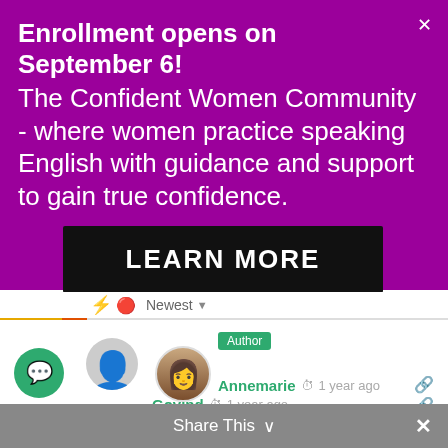[Figure (screenshot): Purple promotional banner for The Confident Women Community with enrollment notice, descriptive text, and a LEARN MORE button]
Newest
[Figure (illustration): Generic user avatar circle in gray]
Govind  1 year ago
This is the one video I was looking for. Thank u.
0  Reply
35
[Figure (photo): Profile photo thumbnail of Annemarie]
Author
Annemarie  1 year ago
Share This